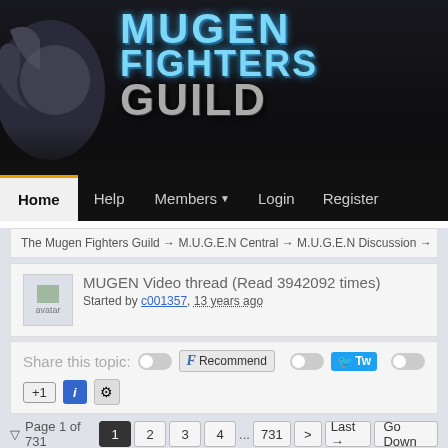[Figure (screenshot): Mugen Fighters Guild website banner with stylized blue metallic logo text showing MUGEN FIGHTERS GUILD with a winged character silhouette on dark background]
Home  Help  Members  Login  Register
The Mugen Fighters Guild → M.U.G.E.N Central → M.U.G.E.N Discussion →
MUGEN Video thread (Read 3942092 times)
Started by c001357, 13 years ago
Share this topic:  [toggle] [F Recommend] [toggle] [Tw...]  [toggle] [+1] [i] [gear]
Page 1 of 731  1 2 3 4 ... 731 >  Last →  Go Down
c001357  MUGEN Video thread  13...
I don't know of any goo...
★☆☆☆☆  ▬▬▬▬▬▬▬▬